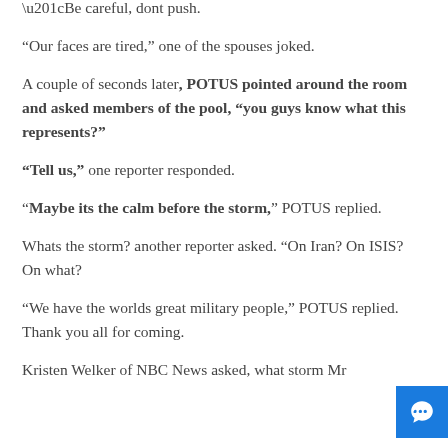“Be careful, dont push.
“Our faces are tired,” one of the spouses joked.
A couple of seconds later, POTUS pointed around the room and asked members of the pool, “you guys know what this represents?”
“Tell us,” one reporter responded.
“Maybe its the calm before the storm,” POTUS replied.
Whats the storm? another reporter asked. “On Iran? On ISIS? On what?
“We have the worlds great military people,” POTUS replied. Thank you all for coming.
Kristen Welker of NBC News asked, what storm Mr